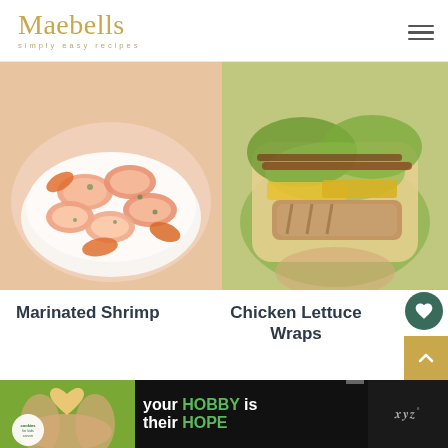Maebells simply easy recipes
[Figure (photo): Close-up photo of marinated shrimp in a white bowl with herbs]
[Figure (photo): Photo of chicken lettuce wraps held in hand, showing chicken, lettuce, cheese]
Marinated Shrimp
Chicken Lettuce Wraps
3
VIEW ALL WEEKNIGHT MEALS
WHAT'S NEXT → Grain Free Granola with...
[Figure (photo): Advertisement banner: Cookies for Kids Cancer - your HOBBY is their HOPE]